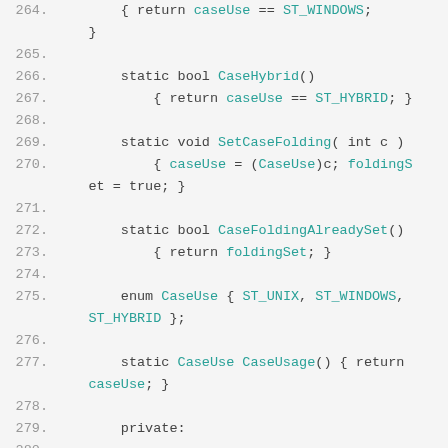Code listing lines 264-284 showing C++ class methods: CaseHybrid(), SetCaseFolding(), CaseFoldingAlreadySet(), enum CaseUse, CaseUsage(), private section, static members caseUse and foldingSet, and beginning of SEqualF()